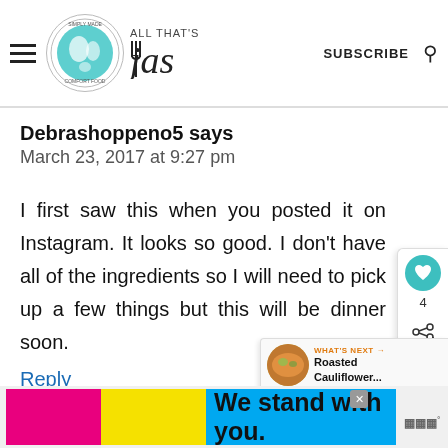ALL THAT'S jas — SUBSCRIBE
Debrashoppeno5 says
March 23, 2017 at 9:27 pm
I first saw this when you posted it on Instagram. It looks so good. I don't have all of the ingredients so I will need to pick up a few things but this will be dinner soon.
Reply
[Figure (infographic): WHAT'S NEXT arrow with circular food photo and text 'Roasted Cauliflower...']
We stand with you.